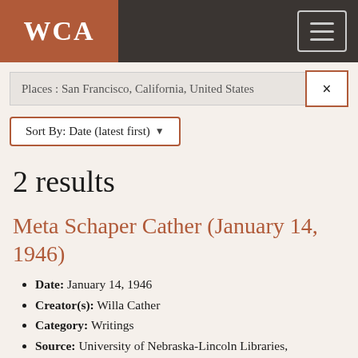WCA
Places : San Francisco, California, United States
Sort By: Date (latest first)
2 results
Meta Schaper Cather (January 14, 1946)
Date: January 14, 1946
Creator(s): Willa Cather
Category: Writings
Source: University of Nebraska-Lincoln Libraries, Archives & Special Collections, Lincoln, NE